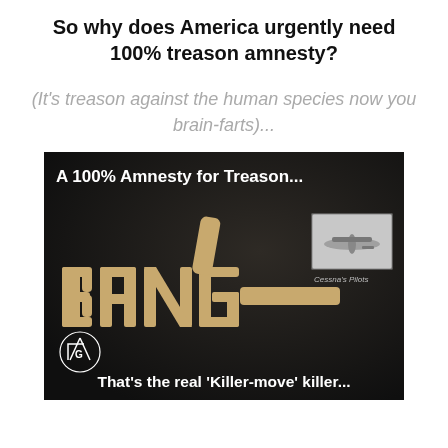So why does America urgently need 100% treason amnesty?
(It's treason against the human species now you brain-farts)...
[Figure (illustration): Dark background meme image with the word 'BANG' styled as a hand gun shape in sandy/beige color. Top text reads 'A 100% Amnesty for Treason...' A small inset photo of a Cessna airplane appears in the upper right with caption 'Cessna's Pilots'. A Freemason square and compass symbol appears in the lower left. Bottom text reads 'That\'s the real \'Killer-move\' killer...']